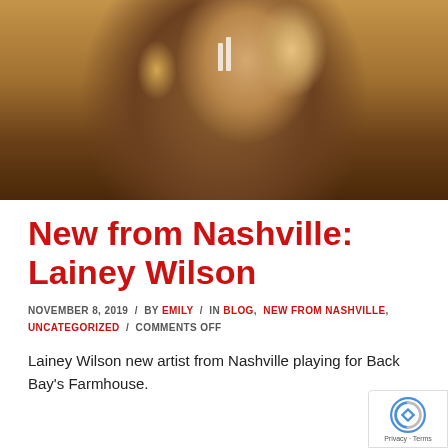[Figure (photo): Woman with long blonde wavy hair wearing a leopard print jacket, holding something near her ear, photographed from mid-torso up against a warm brown background]
New from Nashville: Lainey Wilson
NOVEMBER 8, 2019  /  BY EMILY  /  IN BLOG, NEW FROM NASHVILLE, UNCATEGORIZED  /  COMMENTS OFF
Lainey Wilson new artist from Nashville playing for Back Bay's Farmhouse.